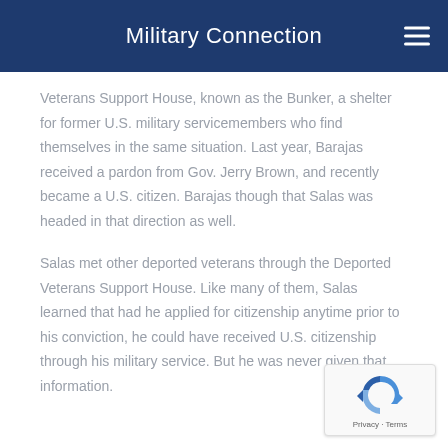Military Connection
Veterans Support House, known as the Bunker, a shelter for former U.S. military servicemembers who find themselves in the same situation. Last year, Barajas received a pardon from Gov. Jerry Brown, and recently became a U.S. citizen. Barajas though that Salas was headed in that direction as well.
Salas met other deported veterans through the Deported Veterans Support House. Like many of them, Salas learned that had he applied for citizenship anytime prior to his conviction, he could have received U.S. citizenship through his military service. But he was never given that information.
[Figure (other): reCAPTCHA badge with Privacy and Terms links]